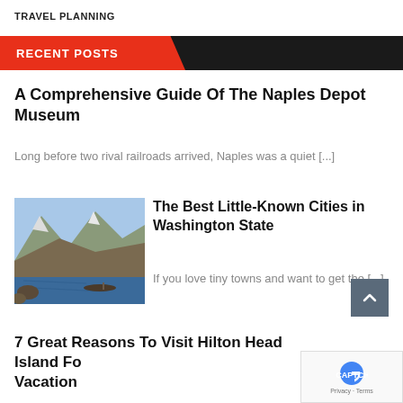TRAVEL PLANNING
RECENT POSTS
A Comprehensive Guide Of The Naples Depot Museum
Long before two rival railroads arrived, Naples was a quiet [...]
[Figure (photo): Mountain lake landscape with snow-capped peaks and boats on water]
The Best Little-Known Cities in Washington State
If you love tiny towns and want to get the [...]
7 Great Reasons To Visit Hilton Head Island Fo Vacation